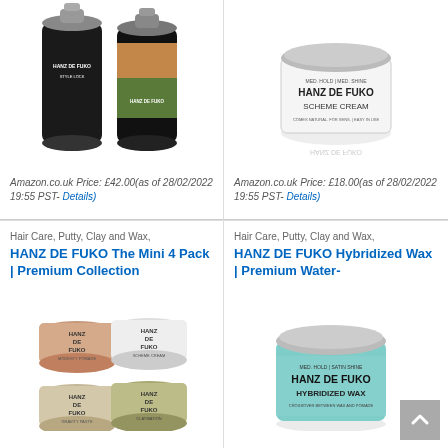[Figure (photo): Two Hanz De Fuko aerosol spray cans, black labels with brand branding]
[Figure (photo): Hanz De Fuko Scheme Cream jar, white label, silver lid]
Amazon.co.uk Price: £42.00(as of 28/02/2022 19:55 PST- Details)
Amazon.co.uk Price: £18.00(as of 28/02/2022 19:55 PST- Details)
Hair Care, Putty, Clay and Wax,
HANZ DE FUKO The Mini 4 Pack | Premium Collection
Hair Care, Putty, Clay and Wax,
HANZ DE FUKO Hybridized Wax | Premium Water-
[Figure (photo): Four small Hanz De Fuko product pots: Modesty Pomade, Scheme Cream, Gravity Paste, Claymation]
[Figure (photo): Hanz De Fuko Hybridized Wax jar, teal/mint color with silver lid]